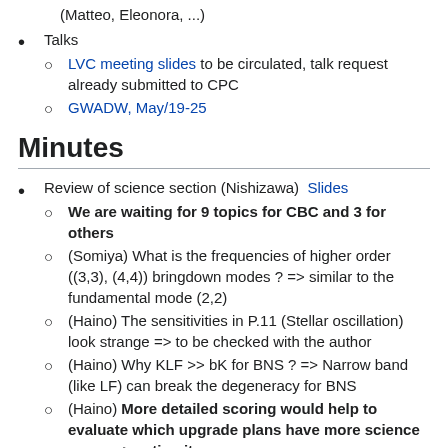(Matteo, Eleonora, ...)
Talks
LVC meeting slides to be circulated, talk request already submitted to CPC
GWADW, May/19-25
Minutes
Review of science section (Nishizawa) Slides
We are waiting for 9 topics for CBC and 3 for others
(Somiya) What is the frequencies of higher order ((3,3), (4,4)) bringdown modes ? => similar to the fundamental mode (2,2)
(Haino) The sensitivities in P.11 (Stellar oscillation) look strange => to be checked with the author
(Haino) Why KLF >> bK for BNS ? => Narrow band (like LF) can break the degeneracy for BNS
(Haino) More detailed scoring would help to evaluate which upgrade plans have more science cases => action item